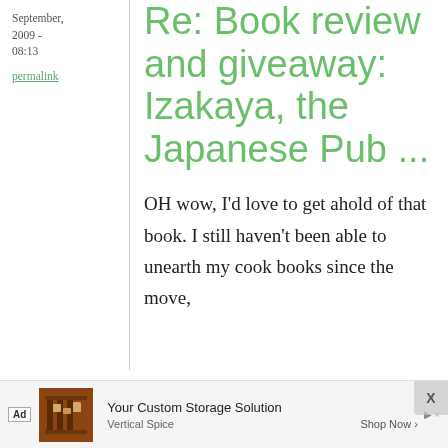September, 2009 - 08:13
permalink
Re: Book review and giveaway: Izakaya, the Japanese Pub ...
OH wow, I'd love to get ahold of that book. I still haven't been able to unearth my cook books since the move,
[Figure (infographic): Advertisement banner: Ad label, image of spice rack, text 'Your Custom Storage Solution', 'Vertical Spice', 'Shop Now >' with close button X]